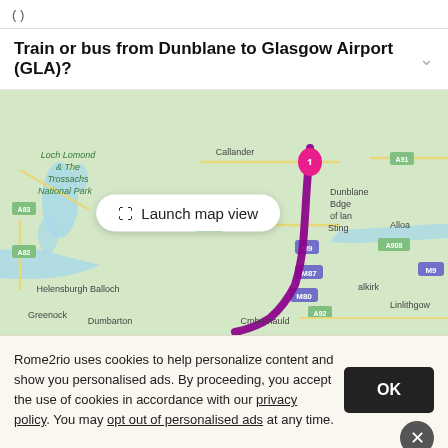( )
Train or bus from Dunblane to Glasgow Airport (GLA)?
[Figure (map): Map showing route from Dunblane (marked with pink pin labeled 1) to Glasgow area via M9/M80 motorways, with purple route line. Shows Loch Lomond & The Trossachs National Park, Callander, Aberfoyle, Helensburgh, Balloch, Greenock, Dumbarton, Cumbernauld, Stirling, Alloa, Falkirk, Linlithgow. Launch map view button visible.]
Rome2rio uses cookies to help personalize content and show you personalised ads. By proceeding, you accept the use of cookies in accordance with our privacy policy. You may opt out of personalised ads at any time.